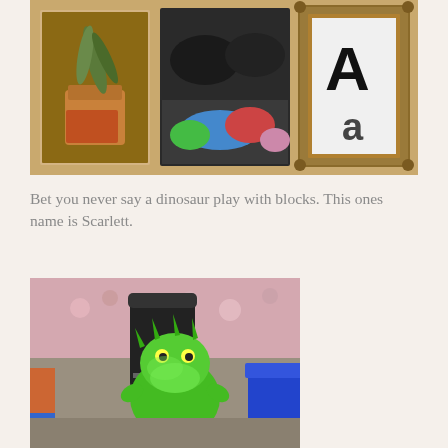[Figure (photo): Classroom photo showing learning materials on a table: a plant in a mason jar, black shoes/sandals, colorful fabric/items, and a framed letter 'Aa' card.]
Bet you never say a dinosaur play with blocks. This ones name is Scarlett.
[Figure (photo): A green dinosaur stuffed animal or costume sitting in a classroom near a black trash can and blue chair, with floral wallpaper in background.]